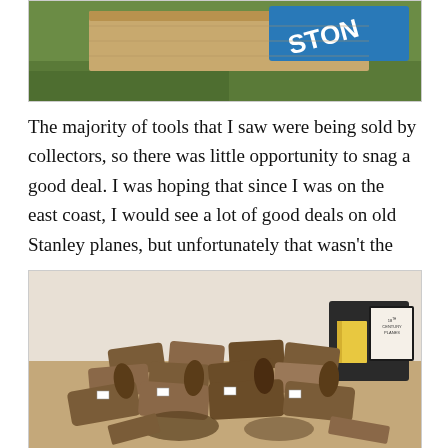[Figure (photo): Partial photo showing grass and what appears to be a blue Stanley-branded product on wooden surface, partially cropped at top of page]
The majority of tools that I saw were being sold by collectors, so there was little opportunity to snag a good deal. I was hoping that since I was on the east coast, I would see a lot of good deals on old Stanley planes, but unfortunately that wasn't the case.
[Figure (photo): Photo of a large collection of old wooden hand planes and tools piled on a table at what appears to be a tool sale or flea market. A sign reading '18th Century Planes' is visible in the background.]